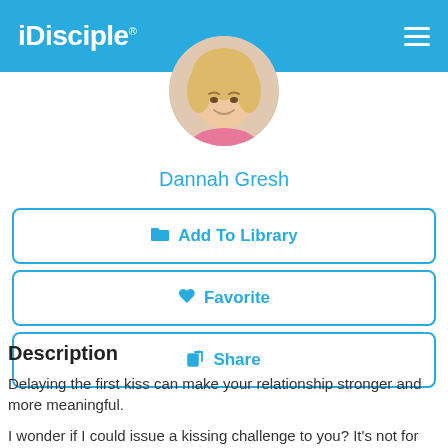iDisciple
[Figure (photo): Circular profile photo of a blonde woman smiling, partially cropped]
Dannah Gresh
Add To Library
Favorite
Share
Description
Delaying the first kiss can make your relationship stronger and more meaningful.
I wonder if I could issue a kissing challenge to you? It's not for the